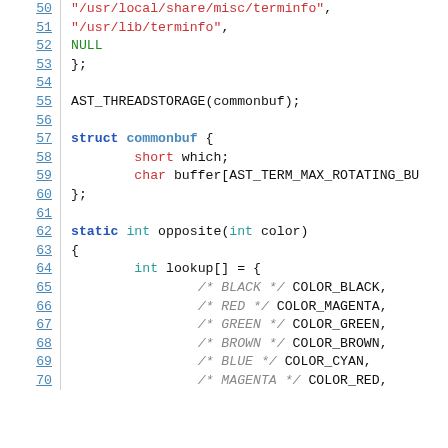Code listing showing C source code lines 50-70 with syntax highlighting